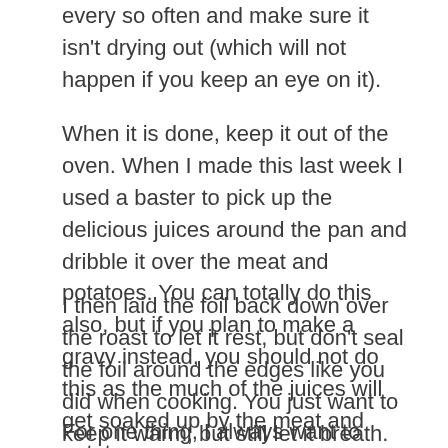every so often and make sure it isn't drying out (which will not happen if you keep an eye on it).
When it is done, keep it out of the oven. When I made this last week I used a baster to pick up the delicious juices around the pan and dribble it over the meat and potatoes. You can totally do this also, but if you plan to make a gravy instead, you should not do this as the much of the juices will get soaked up by the meat and potatoes.
I then laid the foil back down over the roast to let it rest, but don't seal the foil around the edges like you did when cooking. You just want to keep it warm, but still let it breath. Experts always say to let your meats sit for like 20 before cutting into them...This never happens in my house.
For one thing, I always want to make sure it is done the